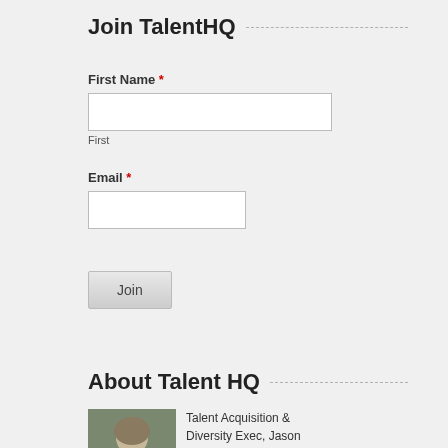Join TalentHQ
First Name *
First
Email *
Join
About Talent HQ
Talent Acquisition & Diversity Exec, Jason Russ, is the founder and